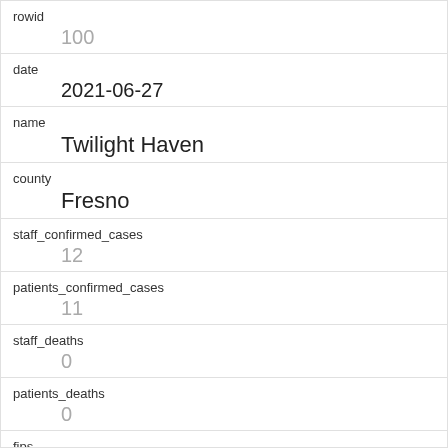| field | value |
| --- | --- |
| rowid | 100 |
| date | 2021-06-27 |
| name | Twilight Haven |
| county | Fresno |
| staff_confirmed_cases | 12 |
| patients_confirmed_cases | 11 |
| staff_deaths | 0 |
| patients_deaths | 0 |
| fips | 19 |
| staff_confirmed_cases_note |  |